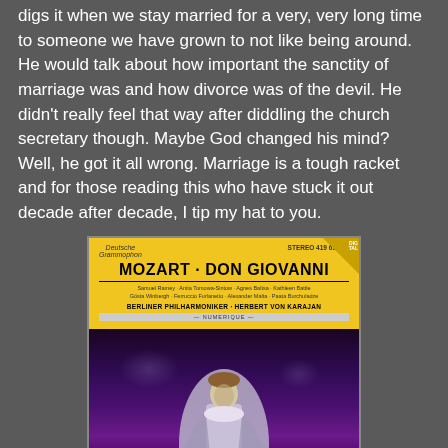digs it when we stay married for a very, very long time to someone we have grown to not like being around. He would talk about how important the sanctity of marriage was and how divorce was of the devil. He didn't really feel that way after diddling the church secretary though. Maybe God changed his mind? Well, he got it all wrong. Marriage is a tough racket and for those reading this who have stuck it out decade after decade, I tip my hat to you.
[Figure (photo): Album cover for Mozart Don Giovanni performed by Berliner Philharmoniker conducted by Herbert von Karajan on Deutsche Grammophon. Yellow label at top with artist names including Samuel Ramey, Anita Tomowa-Sintow, Agnes Baltsa, Kathleen Battle, Gosta Winbergh, Ferruccio Furlanetto, Alexander Malta, Paata Burchuladze. Below the label is a dramatic dark purple theatrical scene with a costumed figure standing on a dark stage with purple atmospheric lighting.]